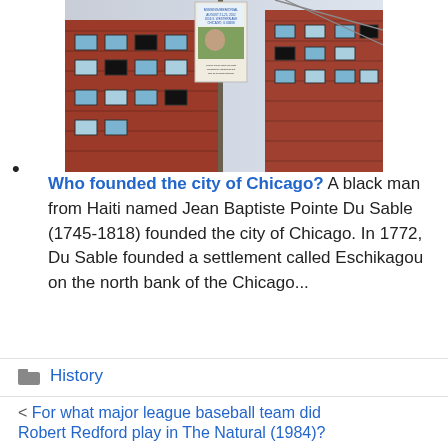[Figure (photo): A flyer posted on a pole in front of a red brick apartment building. The flyer appears to be a missing persons or memorial notice with text and a photo on it.]
Who founded the city of Chicago? A black man from Haiti named Jean Baptiste Pointe Du Sable (1745-1818) founded the city of Chicago. In 1772, Du Sable founded a settlement called Eschikagou on the north bank of the Chicago...
History
< For what major league baseball team did Robert Bedford play in The Natural (1984)?